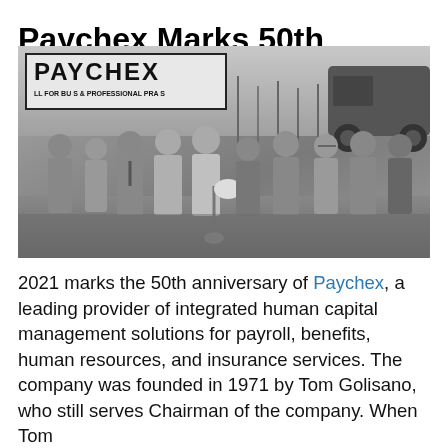Paychex Marks 50th Anniversary
[Figure (photo): Black and white photograph of a group of people gathered outdoors at a groundbreaking ceremony in front of a Paychex sign. A person in the center is holding a shovel. Bare trees are visible in the background.]
2021 marks the 50th anniversary of Paychex, a leading provider of integrated human capital management solutions for payroll, benefits, human resources, and insurance services. The company was founded in 1971 by Tom Golisano, who still serves Chairman of the company. When Tom